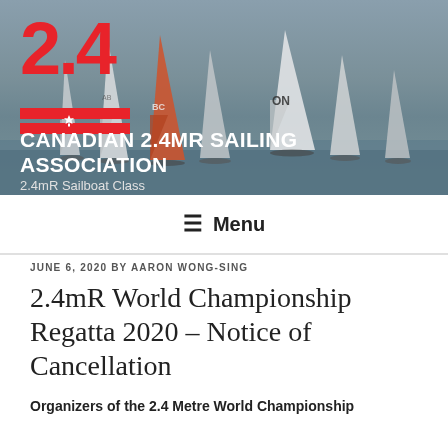[Figure (photo): Header banner with sailboats racing on water, showing a regatta with multiple 2.4mR sailboats, overlaid with the Canadian 2.4mR Sailing Association logo (red 2.4 numeral with red bars and maple leaf) and site title text]
CANADIAN 2.4MR SAILING ASSOCIATION
2.4mR Sailboat Class
≡ Menu
JUNE 6, 2020 BY AARON WONG-SING
2.4mR World Championship Regatta 2020 – Notice of Cancellation
Organizers of the 2.4 Metre World Championship